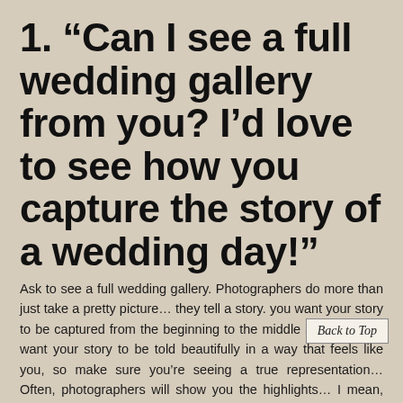1. “Can I see a full wedding gallery from you? I’d love to see how you capture the story of a wedding day!”
Ask to see a full wedding gallery. Photographers do more than just take a pretty picture… they tell a story. you want your story to be captured from the beginning to the middle and end. You want your story to be told beautifully in a way that feels like you, so make sure you’re seeing a true representation… Often, photographers will show you the highlights… I mean, don’t we all? But, by seeing a full wedding gallery you’ll get a